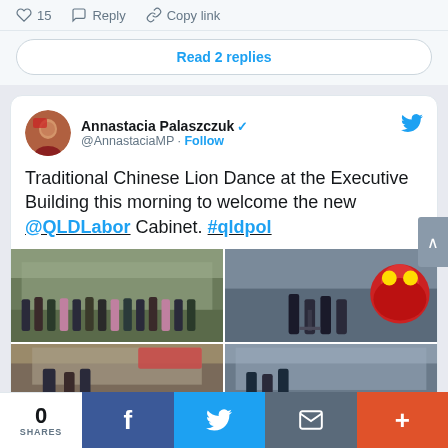15  Reply  Copy link
Read 2 replies
Annastacia Palaszczuk @AnnastaciaMP · Follow
Traditional Chinese Lion Dance at the Executive Building this morning to welcome the new @QLDLabor Cabinet. #qldpol
[Figure (photo): Two side-by-side photos: left shows a group of people in formal attire standing outside a building; right shows a person speaking at a podium with a red lion dance costume visible]
[Figure (photo): Two partially visible photos in a 2x2 grid bottom row]
0 SHARES  [Facebook] [Twitter] [Email] [+]